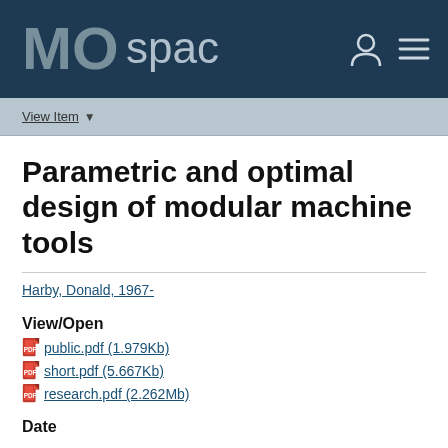[Figure (logo): MOspace logo in dark navy header bar with user icon and hamburger menu]
View Item ▾
Parametric and optimal design of modular machine tools
Harby, Donald, 1967-
View/Open
public.pdf (1.979Kb)
short.pdf (5.667Kb)
research.pdf (2.262Mb)
Date